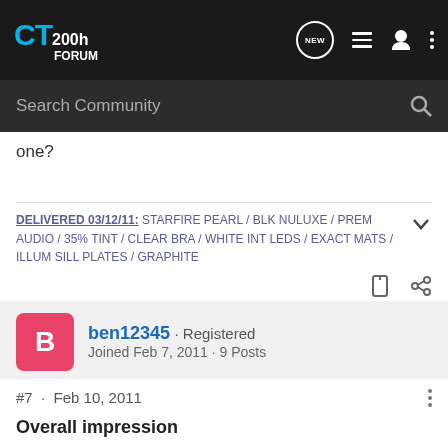CT200h FORUM
one?
DELIVERED 03/12/11: STARFIRE PEARL / BLK NULUXE / PREM AUDIO / 35% TINT / CLEAR BRA / WHITE INT LEDS / EXACT MATS / ILLUM SILL PLATES / GRAPHITE
ben12345 · Registered
Joined Feb 7, 2011 · 9 Posts
#7 · Feb 10, 2011
Overall impression